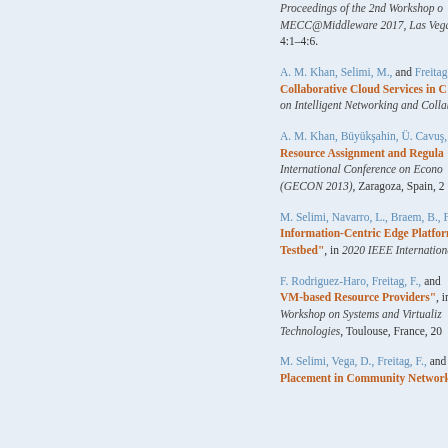Proceedings of the 2nd Workshop on MECC@Middleware 2017, Las Vegas, 4:1–4:6.
A. M. Khan, Selimi, M., and Freitag, ... Collaborative Cloud Services in C... on Intelligent Networking and Collab...
A. M. Khan, Büyükşahin, Ü. Cavuş, ... Resource Assignment and Regula... International Conference on Econo... (GECON 2013), Zaragoza, Spain, 2...
M. Selimi, Navarro, L., Braem, B., F... Information-Centric Edge Platform... Testbed", in 2020 IEEE Internationa...
F. Rodriguez-Haro, Freitag, F., and ... VM-based Resource Providers", in... Workshop on Systems and Virtualiz... Technologies, Toulouse, France, 20...
M. Selimi, Vega, D., Freitag, F., and ... Placement in Community Network...